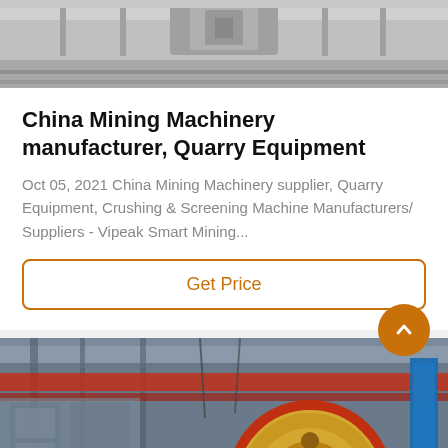[Figure (photo): Top portion of industrial mining machinery, gray metal equipment visible from above]
China Mining Machinery manufacturer, Quarry Equipment
Oct 05, 2021 China Mining Machinery supplier, Quarry Equipment, Crushing & Screening Machine Manufacturers/ Suppliers - Vipeak Smart Mining...
Get Price
[Figure (photo): Industrial mining facility interior showing a large yellow and red jaw crusher wheel/flywheel with metal framework and blue signage in background]